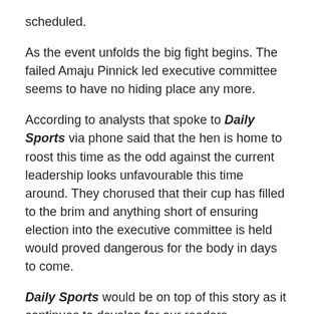scheduled.
As the event unfolds the big fight begins. The failed Amaju Pinnick led executive committee seems to have no hiding place any more.
According to analysts that spoke to Daily Sports via phone said that the hen is home to roost this time as the odd against the current leadership looks unfavourable this time around. They chorused that their cup has filled to the brim and anything short of ensuring election into the executive committee is held would proved dangerous for the body in days to come.
Daily Sports would be on top of this story as it continues to develop for our readers.
Source Daily Sports Nigeria